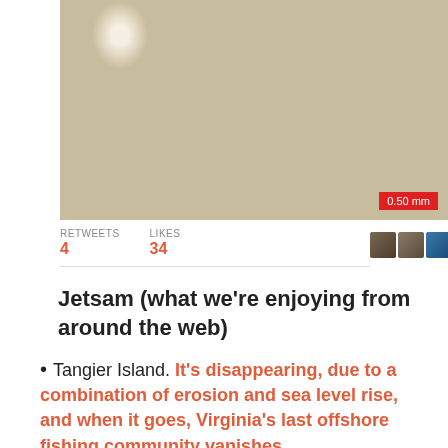[Figure (photo): Close-up macro photograph of small white/cream colored oval eggs or beads clustered together, with a red scale badge reading '0.50 mm' in the bottom right corner]
RETWEETS 4   LIKES 34
Jetsam (what we're enjoying from around the web)
Tangier Island. It's disappearing, due to a combination of erosion and sea level rise, and when it goes, Virginia's last offshore fishing community vanishes,